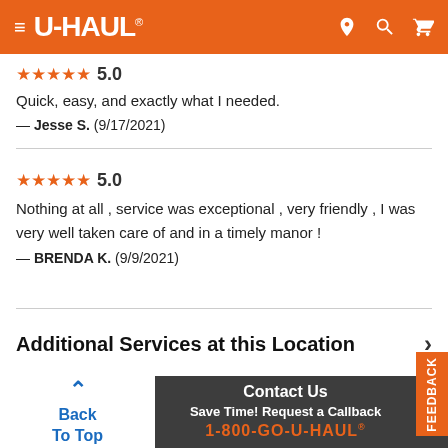U-HAUL
5.0
Quick, easy, and exactly what I needed.
— Jesse S.  (9/17/2021)
5.0
Nothing at all , service was exceptional , very friendly , I was very well taken care of and in a timely manor !
— BRENDA K.  (9/9/2021)
Additional Services at this Location
Contact Us
Save Time! Request a Callback
1-800-GO-U-HAUL®